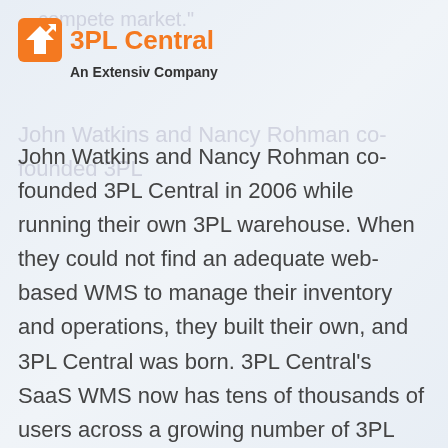[Figure (logo): 3PL Central logo — orange box icon with arrow and orange bold text '3PL Central', with tagline 'An Extensiv Company' in black bold below]
John Watkins and Nancy Rohman co-founded 3PL Central in 2006 while running their own 3PL warehouse. When they could not find an adequate web-based WMS to manage their inventory and operations, they built their own, and 3PL Central was born. 3PL Central's SaaS WMS now has tens of thousands of users across a growing number of 3PL and private warehouse customers worldwide. Collectively, 3PL Central's fulfillment customers experienced a 91% year-over-year increase in shipment volume for the 2015 Black Friday to Cyber Monday holiday shopping season.